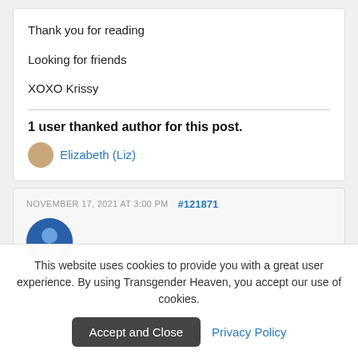Thank you for reading
Looking for friends
XOXO Krissy
1 user thanked author for this post.
Elizabeth (Liz)
NOVEMBER 17, 2021 AT 3:00 PM   #121871
This website uses cookies to provide you with a great user experience. By using Transgender Heaven, you accept our use of cookies.
Accept and Close
Privacy Policy